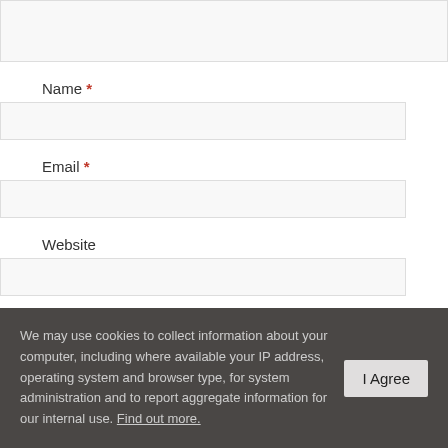[Figure (screenshot): Partial textarea input box at the top of the page, cut off]
Name *
[Figure (screenshot): Name input field (empty, light gray background)]
Email *
[Figure (screenshot): Email input field (empty, light gray background)]
Website
[Figure (screenshot): Website input field (empty, light gray background)]
Post Comment
Notify me of follow-up comments by email.
We may use cookies to collect information about your computer, including where available your IP address, operating system and browser type, for system administration and to report aggregate information for our internal use. Find out more.
I Agree